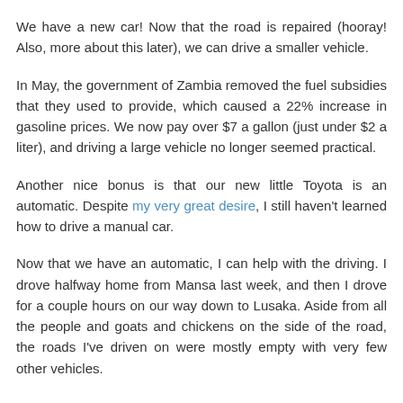We have a new car! Now that the road is repaired (hooray! Also, more about this later), we can drive a smaller vehicle.
In May, the government of Zambia removed the fuel subsidies that they used to provide, which caused a 22% increase in gasoline prices. We now pay over $7 a gallon (just under $2 a liter), and driving a large vehicle no longer seemed practical.
Another nice bonus is that our new little Toyota is an automatic. Despite my very great desire, I still haven't learned how to drive a manual car.
Now that we have an automatic, I can help with the driving. I drove halfway home from Mansa last week, and then I drove for a couple hours on our way down to Lusaka. Aside from all the people and goats and chickens on the side of the road, the roads I've driven on were mostly empty with very few other vehicles.